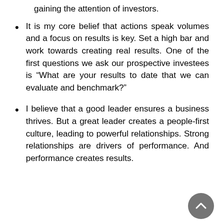gaining the attention of investors.
It is my core belief that actions speak volumes and a focus on results is key. Set a high bar and work towards creating real results. One of the first questions we ask our prospective investees is “What are your results to date that we can evaluate and benchmark?”
I believe that a good leader ensures a business thrives. But a great leader creates a people-first culture, leading to powerful relationships. Strong relationships are drivers of performance. And performance creates results.